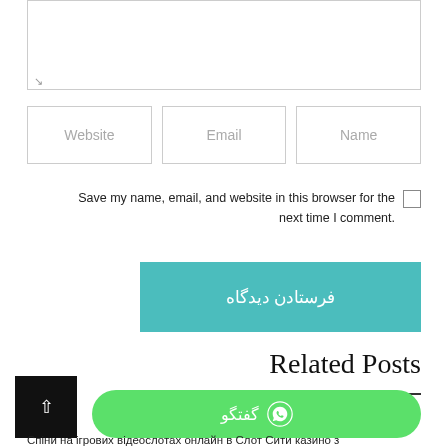[Figure (screenshot): Textarea input box with resize handle at bottom-left corner]
[Figure (screenshot): Three input fields side by side labeled Website, Email, Name]
Save my name, email, and website in this browser for the next time I comment.
فرستادن دیدگاه
Related Posts
[Figure (screenshot): Back to top arrow button (black square) and green WhatsApp chat button labeled گفتگو]
Спіни на ігрових відеослотах онлайн в Слот Сити казино з